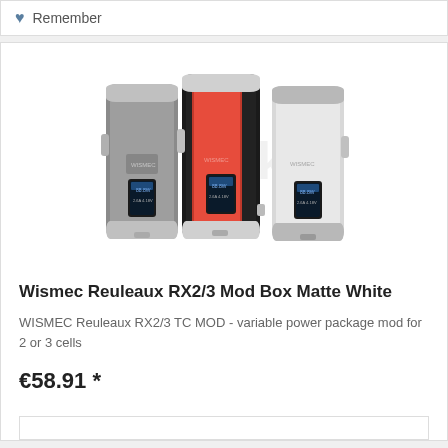Remember
[Figure (photo): Three Wismec Reuleaux RX2/3 Mod Box devices shown side by side — left is dark grey, center is black and red, right is matte white]
Wismec Reuleaux RX2/3 Mod Box Matte White
WISMEC Reuleaux RX2/3 TC MOD - variable power package mod for 2 or 3 cells
€58.91 *